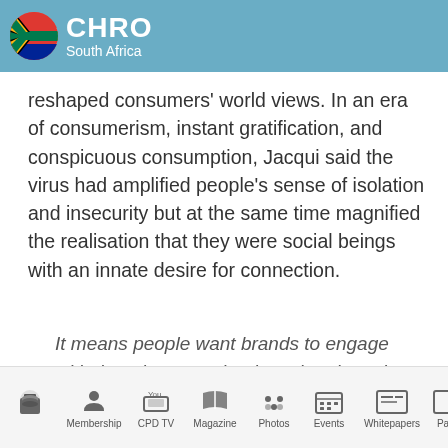CHRO South Africa
reshaped consumers' world views. In an era of consumerism, instant gratification, and conspicuous consumption, Jacqui said the virus had amplified people's sense of isolation and insecurity but at the same time magnified the realisation that they were social beings with an innate desire for connection.
It means people want brands to engage with them in a way that is authentic and practical while celebrating humanity.
Membership  CPD TV  Magazine  Photos  Events  Whitepapers  Pa